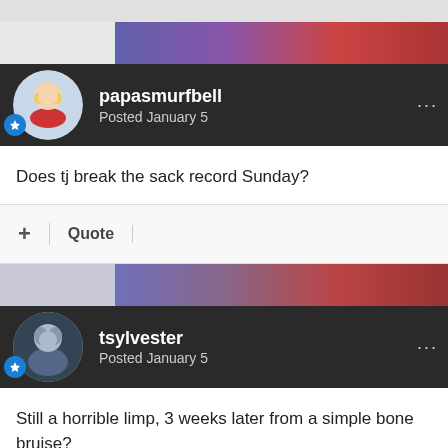papasmurfbell
Posted January 5
Does tj break the sack record Sunday?
tsylvester
Posted January 5
Still a horrible limp, 3 weeks later from a simple bone bruise?

Yes, Watt gets the sack record, the real way